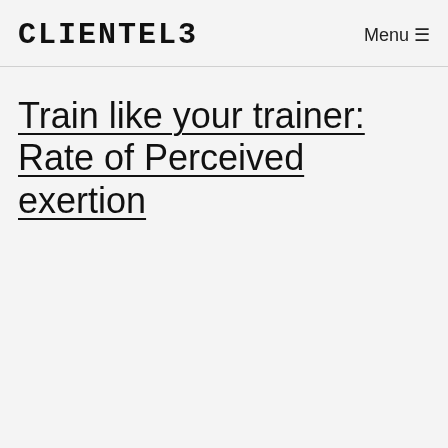CLIENTEL3
Menu ≡
Train like your trainer: Rate of Perceived exertion